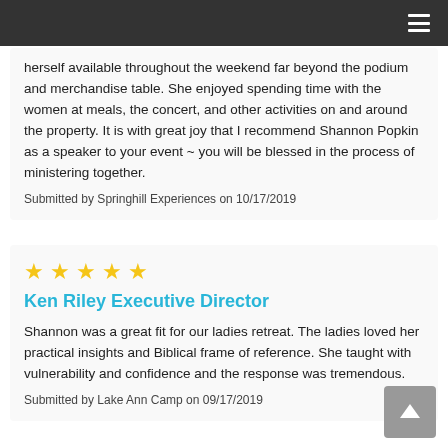≡
herself available throughout the weekend far beyond the podium and merchandise table. She enjoyed spending time with the women at meals, the concert, and other activities on and around the property. It is with great joy that I recommend Shannon Popkin as a speaker to your event ~ you will be blessed in the process of ministering together.
Submitted by Springhill Experiences on 10/17/2019
[Figure (other): Five gold star rating icons]
Ken Riley Executive Director
Shannon was a great fit for our ladies retreat. The ladies loved her practical insights and Biblical frame of reference. She taught with vulnerability and confidence and the response was tremendous.
Submitted by Lake Ann Camp on 09/17/2019